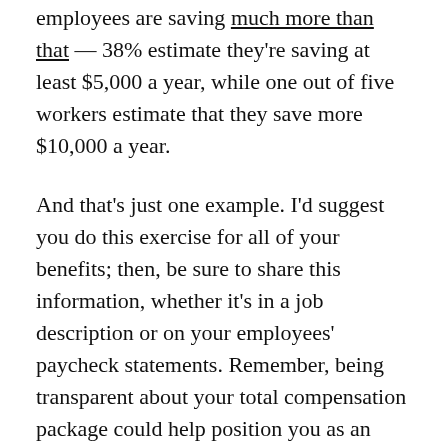employees are saving much more than that — 38% estimate they're saving at least $5,000 a year, while one out of five workers estimate that they save more $10,000 a year.
And that's just one example. I'd suggest you do this exercise for all of your benefits; then, be sure to share this information, whether it's in a job description or on your employees' paycheck statements. Remember, being transparent about your total compensation package could help position you as an employer of choice, both for your current workforce as well as the top talent you're looking to attract.